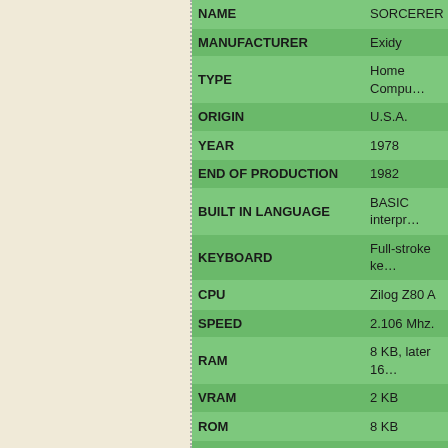| Field | Value |
| --- | --- |
| NAME | SORCERER |
| MANUFACTURER | Exidy |
| TYPE | Home Compu… |
| ORIGIN | U.S.A. |
| YEAR | 1978 |
| END OF PRODUCTION | 1982 |
| BUILT IN LANGUAGE | BASIC interpr… |
| KEYBOARD | Full-stroke ke… |
| CPU | Zilog Z80 A |
| SPEED | 2.106 Mhz. |
| RAM | 8 KB, later 16… |
| VRAM | 2 KB |
| ROM | 8 KB |
| TEXT MODES | 64 chars. x 32… |
| GRAPHIC MODES | 128 programm… |
| COLORS | Monochrome |
| SOUND | By connecting… |
| SIZE / WEIGHT | 48.3 (W) 32.8… |
| I/O PORTS | Expansion Bu… 1200 bauds) |
| OS | CP/M (needs… |
| POWER SUPPLY | Built-in PSU |
| PERIPHERALS | Floppy drive… |